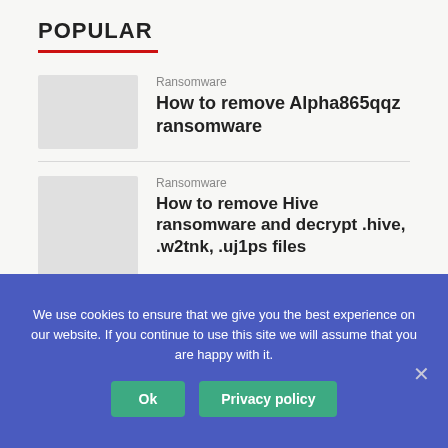POPULAR
Ransomware
How to remove Alpha865qqz ransomware
Ransomware
How to remove Hive ransomware and decrypt .hive, .w2tnk, .uj1ps files
We use cookies to ensure that we give you the best experience on our website. If you continue to use this site we will assume that you are happy with it.